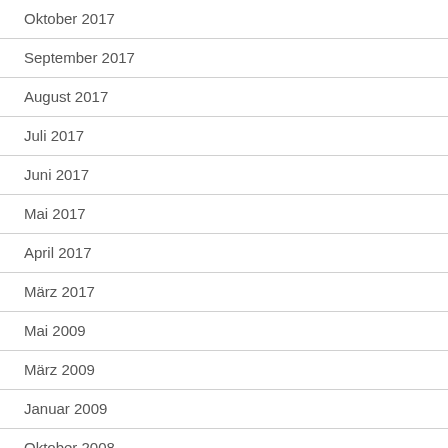Oktober 2017
September 2017
August 2017
Juli 2017
Juni 2017
Mai 2017
April 2017
März 2017
Mai 2009
März 2009
Januar 2009
Oktober 2008
August 2008